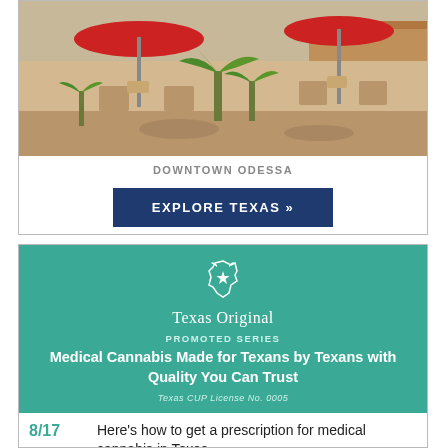[Figure (photo): Outdoor patio scene in Downtown Odessa with red umbrellas, patio furniture, and palm plants]
DOWNTOWN ODESSA
EXPLORE TEXAS »
[Figure (illustration): Texas Original promoted series advertisement banner with teal background, logo, and headline: Medical Cannabis Made for Texans by Texans with Quality You Can Trust. Texas CUP License No. 0005]
8/17  Here's how to get a prescription for medical cannabis in Texas
4/20  Celebrate 4/20 with the state's first Texas-owned medical marijuana dispensary